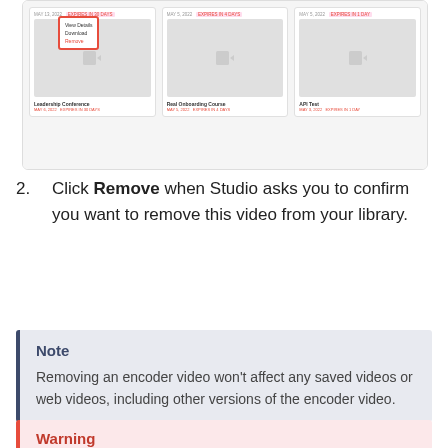[Figure (screenshot): Screenshot of a Studio video library interface showing three video cards with thumbnails. The first card has a dropdown menu open with options including View Details, Download, and Remove (highlighted in red). Cards are labeled Leadership Conference, Real Onboarding Course, and API Test with expiration dates shown in red.]
2. Click Remove when Studio asks you to confirm you want to remove this video from your library.
Note
Removing an encoder video won’t affect any saved videos or web videos, including other versions of the encoder video.
Warning